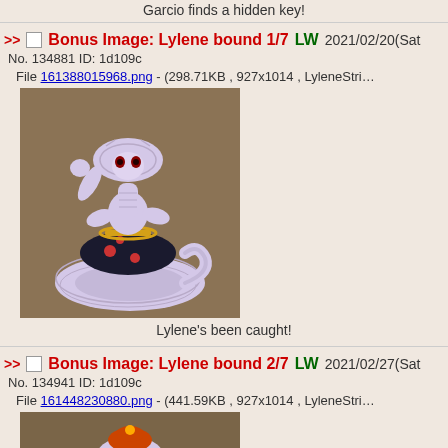Garcio finds a hidden key!
Bonus Image: Lylene bound 1/7 LW 2021/02/20(Sat)
No. 134881 ID: 1d109c
File 161388015968.png - (298.71KB , 927x1014 , LyleneStrip…)
[Figure (illustration): Illustrated anthropomorphic snake character wearing a dark outfit with gold trim, posed in a coiled standing position on a brown background]
Lylene's been caught!
Bonus Image: Lylene bound 2/7 LW 2021/02/27(Sat)
No. 134941 ID: 1d109c
File 161448230880.png - (441.59KB , 927x1014 , LyleneStrip…)
[Figure (illustration): Partial view of illustrated anthropomorphic snake character, cropped at bottom of page]